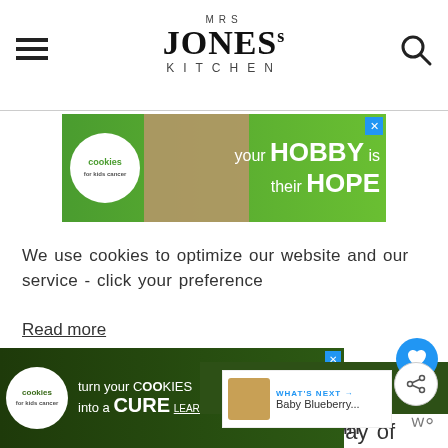MRS JONES's KITCHEN
[Figure (advertisement): Cookies for Kids Cancer ad banner - your HOBBY is their HOPE, green background with cookie image]
We use cookies to optimize our website and our service - click your preference
Read more
right now, not for want of trying...) along with Thai Basil pesto. I find making with them is a quick and easy way of using
[Figure (infographic): ACCEPT button dark green bar overlay for cookie consent]
[Figure (infographic): What's Next widget - Baby Blueberry...]
[Figure (advertisement): Cookies for Kids Cancer bottom ad - turn your COOKIES into a CURE LEARN HOW]